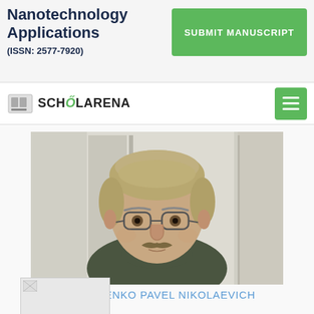Nanotechnology Applications
(ISSN: 2577-7920)
SUBMIT MANUSCRIPT
[Figure (logo): ScholarArena logo with book icon]
[Figure (photo): Portrait photo of a middle-aged man with grey-blonde hair, glasses, mustache, wearing a dark green sweater, seated in an indoor setting]
NESTERENKO PAVEL NIKOLAEVICH